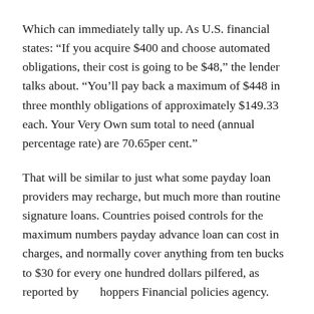Which can immediately tally up. As U.S. financial states: “If you acquire $400 and choose automated obligations, their cost is going to be $48,” the lender talks about. “You’ll pay back a maximum of $448 in three monthly obligations of approximately $149.33 each. Your Very Own sum total to need (annual percentage rate) are 70.65per cent.”
That will be similar to just what some payday loan providers may recharge, but much more than routine signature loans. Countries poised controls for the maximum numbers payday advance loan can cost in charges, and normally cover anything from ten bucks to $30 for every one hundred dollars pilfered, as reported by hoppers Financial policies agency.